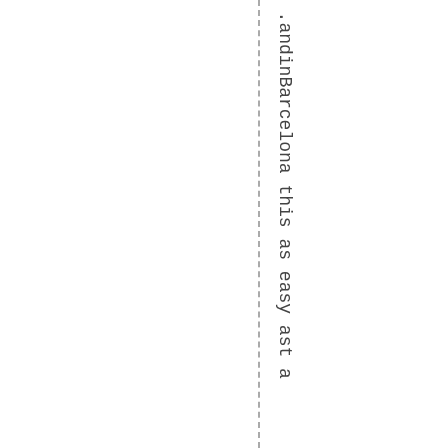n .andinBarcelona this as easy ast a